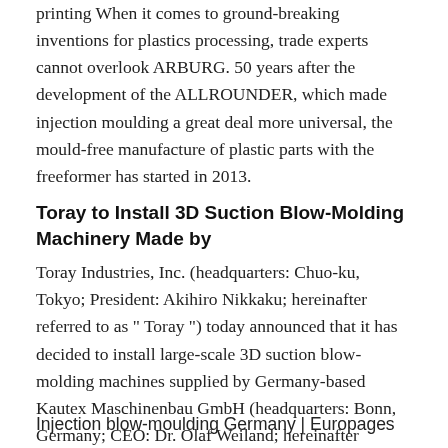printing When it comes to ground-breaking inventions for plastics processing, trade experts cannot overlook ARBURG. 50 years after the development of the ALLROUNDER, which made injection moulding a great deal more universal, the mould-free manufacture of plastic parts with the freeformer has started in 2013.
Toray to Install 3D Suction Blow-Molding Machinery Made by
Toray Industries, Inc. (headquarters: Chuo-ku, Tokyo; President: Akihiro Nikkaku; hereinafter referred to as " Toray ") today announced that it has decided to install large-scale 3D suction blow-molding machines supplied by Germany-based Kautex Maschinenbau GmbH (headquarters: Bonn, Germany; CEO: Dr. Olaf Weiland; hereinafter referred to as " Kautex "), the world's largest manufacturer of.
Injection blow-moulding Germany | Europages